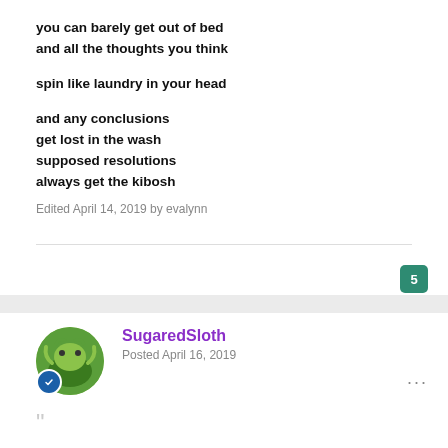you can barely get out of bed
and all the thoughts you think

spin like laundry in your head

and any conclusions
get lost in the wash
supposed resolutions
always get the kibosh
Edited April 14, 2019 by evalynn
5
SugaredSloth
Posted April 16, 2019